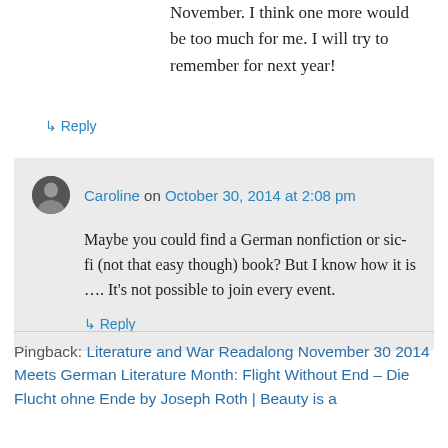November. I think one more would be too much for me. I will try to remember for next year!
↳ Reply
Caroline on October 30, 2014 at 2:08 pm
Maybe you could find a German nonfiction or sic-fi (not that easy though) book? But I know how it is …. It's not possible to join every event.
↳ Reply
Pingback: Literature and War Readalong November 30 2014 Meets German Literature Month: Flight Without End – Die Flucht ohne Ende by Joseph Roth | Beauty is a